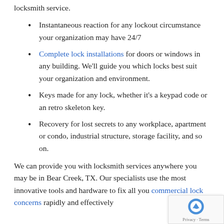locksmith service.
Instantaneous reaction for any lockout circumstance your organization may have 24/7
Complete lock installations for doors or windows in any building. We'll guide you which locks best suit your organization and environment.
Keys made for any lock, whether it's a keypad code or an retro skeleton key.
Recovery for lost secrets to any workplace, apartment or condo, industrial structure, storage facility, and so on.
We can provide you with locksmith services anywhere you may be in Bear Creek, TX. Our specialists use the most innovative tools and hardware to fix all you commercial lock concerns rapidly and effectively